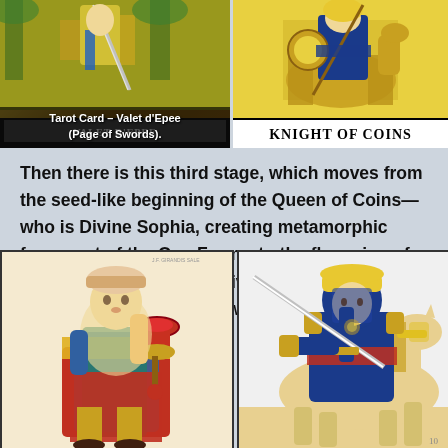[Figure (illustration): Tarot Card – Valet d'Epee (Page of Swords), shown with dark background and banner label at bottom]
Tarot Card – Valet d'Epee (Page of Swords).
[Figure (illustration): Knight of Coins tarot card illustration with label at bottom reading KNIGHT OF COINS]
Then there is this third stage, which moves from the seed-like beginning of the Queen of Coins—who is Divine Sophia, creating metamorphic forms out of the One Form—to the flowering of the Knight of Swords, actively evolving in all directions, to the dying away of the Knave of Cups.
[Figure (illustration): Tarot card illustration of the Knave of Cups, showing a young figure in colorful robes holding a cup]
[Figure (illustration): Tarot card illustration of the Knight of Swords, showing an armored knight on horseback holding a sword]